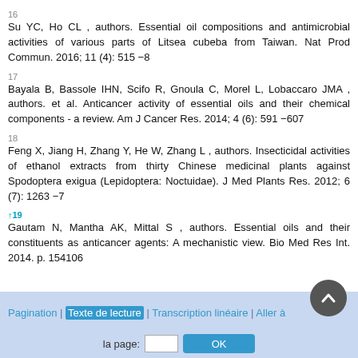16
Su YC, Ho CL , authors. Essential oil compositions and antimicrobial activities of various parts of Litsea cubeba from Taiwan. Nat Prod Commun. 2016; 11 (4): 515 −8
17
Bayala B, Bassole IHN, Scifo R, Gnoula C, Morel L, Lobaccaro JMA , authors. et al. Anticancer activity of essential oils and their chemical components - a review. Am J Cancer Res. 2014; 4 (6): 591 −607
18
Feng X, Jiang H, Zhang Y, He W, Zhang L , authors. Insecticidal activities of ethanol extracts from thirty Chinese medicinal plants against Spodoptera exigua (Lepidoptera: Noctuidae). J Med Plants Res. 2012; 6 (7): 1263 −7
↑19
Gautam N, Mantha AK, Mittal S , authors. Essential oils and their constituents as anticancer agents: A mechanistic view. Bio Med Res Int. 2014. p. 154106
Pagination | Texte de lecture | Transcription linéaire | Aller à la page: [input] OK